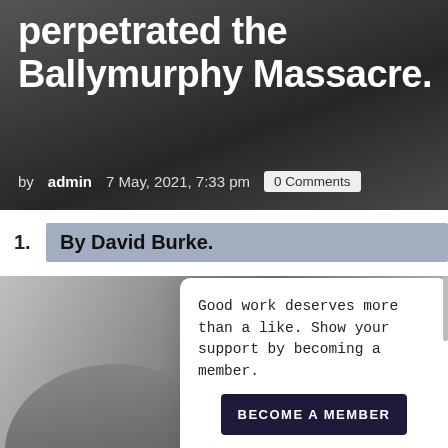perpetrated the Ballymurphy Massacre.
by admin   7 May, 2021, 7:33 pm   0 Comments
1. By David Burke.
[Figure (photo): Black and white photograph of military officers in uniform caps, with a tree and building in the background. A popup overlay card reads: Good work deserves more than a like. Show your support by becoming a member. BECOME A MEMBER button.]
Good work deserves more than a like. Show your support by becoming a member.